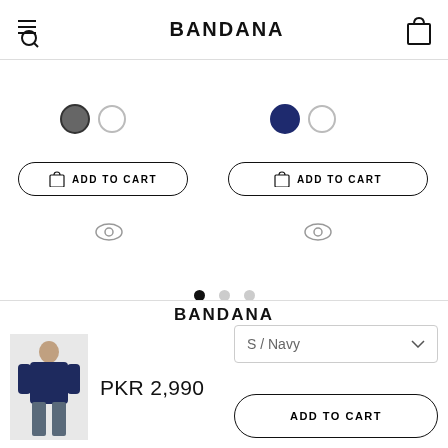BANDANA
[Figure (screenshot): Product listing page showing two color swatches (dark gray and navy), two ADD TO CART buttons, eye icons, pagination dots, and a sticky bottom bar with BANDANA logo, product thumbnail, price PKR 2,990, S/Navy size dropdown, and ADD TO CART button]
PKR 2,990
S / Navy
ADD TO CART